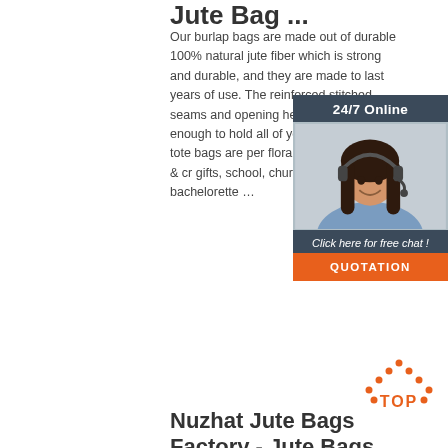Jute Bag ...
Our burlap bags are made out of durable 100% natural jute fiber which is strong and durable, and they are made to last years of use. The reinforced stitched seams and opening help to ensure that it enough to hold all of your items. Natural jute tote bags are perfect for floral arrangements, arts & crafts, gifts, school, church events, wedding favors, bachelorette …
[Figure (infographic): 24/7 Online chat widget with photo of woman with headset and Quotation button]
Get Price
[Figure (other): TOP scroll-to-top button with orange dotted triangle icon]
Nuzhat Jute Bags Factory - Jute Bags